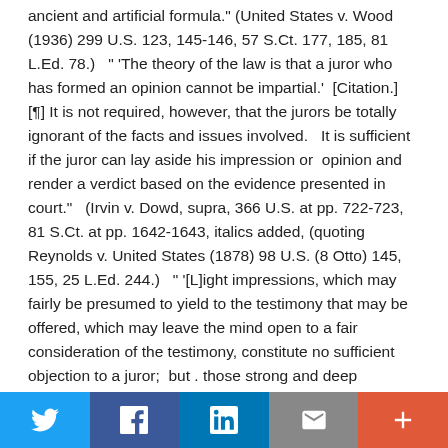ancient and artificial formula." (United States v. Wood (1936) 299 U.S. 123, 145-146, 57 S.Ct. 177, 185, 81 L.Ed. 78.)   " 'The theory of the law is that a juror who has formed an opinion cannot be impartial.'  [Citation.]   [¶] It is not required, however, that the jurors be totally ignorant of the facts and issues involved.   It is sufficient if the juror can lay aside his impression or  opinion and render a verdict based on the evidence presented in court."   (Irvin v. Dowd, supra, 366 U.S. at pp. 722-723, 81 S.Ct. at pp. 1642-1643, italics added, (quoting Reynolds v. United States (1878) 98 U.S. (8 Otto) 145, 155, 25 L.Ed. 244.)   " '[L]ight impressions, which may fairly be presumed to yield to the testimony that may be offered, which may leave the mind open to a fair consideration of the testimony, constitute no sufficient objection to a juror;  but . those strong and deep impressions which close the mind against the testimony that may be offered in opposition to them, which will combat that
Twitter | Facebook | LinkedIn | Email | More